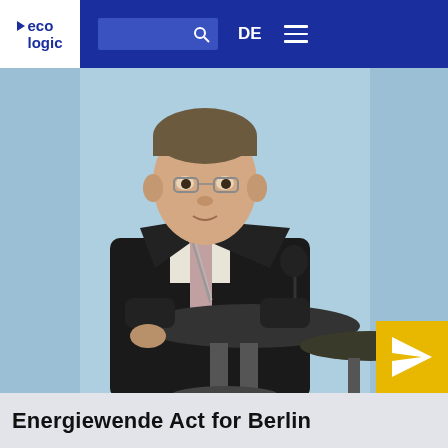[Figure (logo): Ecologic Institute logo: white box with blue 'eco logic' text and blue play-triangle on left]
[Figure (screenshot): Navigation bar with Ecologic logo, search box, DE language toggle, and hamburger menu on dark blue background]
[Figure (photo): Man in dark suit with striped tie speaking at a podium with microphone, light blue background]
Energiewende Act for Berlin